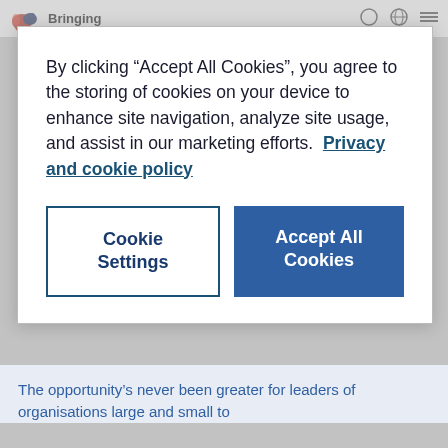Bringing
By clicking “Accept All Cookies”, you agree to the storing of cookies on your device to enhance site navigation, analyze site usage, and assist in our marketing efforts.  Privacy and cookie policy
Cookie Settings
Accept All Cookies
The opportunity’s never been greater for leaders of organisations large and small to